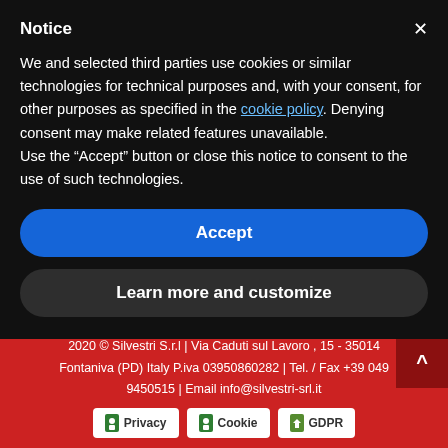Notice
We and selected third parties use cookies or similar technologies for technical purposes and, with your consent, for other purposes as specified in the cookie policy. Denying consent may make related features unavailable.
Use the “Accept” button or close this notice to consent to the use of such technologies.
Accept
Learn more and customize
buttons for manual control on request.
2020 © Silvestri S.r.l | Via Caduti sul Lavoro , 15 - 35014 Fontaniva (PD) Italy P.iva 03950860282 | Tel. / Fax +39 049 9450515 | Email info@silvestri-srl.it
Privacy
Cookie
GDPR